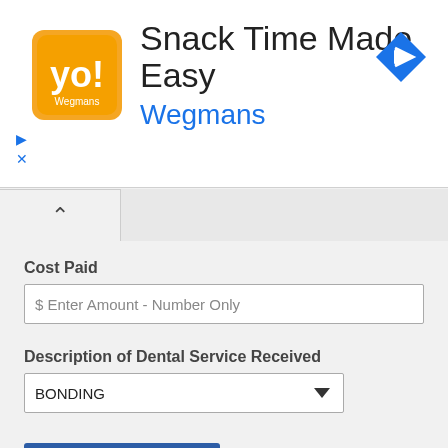[Figure (screenshot): Advertisement banner for Wegmans app showing orange logo with text 'Snack Time Made Easy' and 'Wegmans' in blue, with a blue navigation arrow icon top right, and small play/close icons bottom left]
Cost Paid
$ Enter Amount - Number Only
Description of Dental Service Received
BONDING
Add Rate